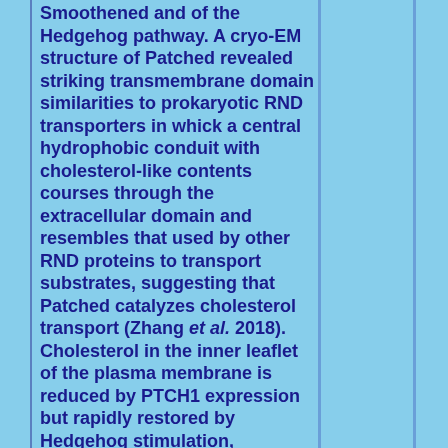Smoothened and of the Hedgehog pathway. A cryo-EM structure of Patched revealed striking transmembrane domain similarities to prokaryotic RND transporters in whick a central hydrophobic conduit with cholesterol-like contents courses through the extracellular domain and resembles that used by other RND proteins to transport substrates, suggesting that Patched catalyzes cholesterol transport (Zhang et al. 2018). Cholesterol in the inner leaflet of the plasma membrane is reduced by PTCH1 expression but rapidly restored by Hedgehog stimulation, suggesting that PTCH1 regulates Smoothened by controlling cholesterol availability